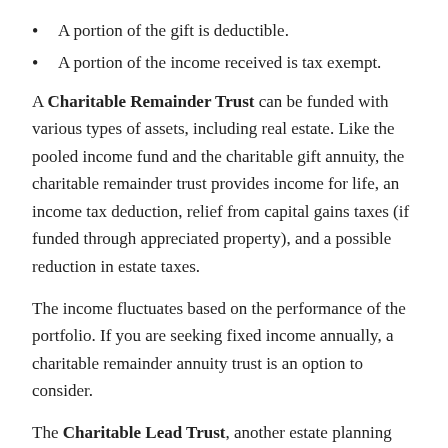A portion of the gift is deductible.
A portion of the income received is tax exempt.
A Charitable Remainder Trust can be funded with various types of assets, including real estate. Like the pooled income fund and the charitable gift annuity, the charitable remainder trust provides income for life, an income tax deduction, relief from capital gains taxes (if funded through appreciated property), and a possible reduction in estate taxes.
The income fluctuates based on the performance of the portfolio. If you are seeking fixed income annually, a charitable remainder annuity trust is an option to consider.
The Charitable Lead Trust, another estate planning tool, enables you to transfer assets to a